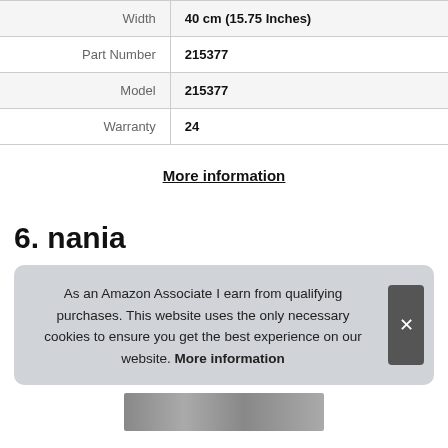| Attribute | Value |
| --- | --- |
| Width | 40 cm (15.75 Inches) |
| Part Number | 215377 |
| Model | 215377 |
| Warranty | 24 |
More information
6. nania
As an Amazon Associate I earn from qualifying purchases. This website uses the only necessary cookies to ensure you get the best experience on our website. More information